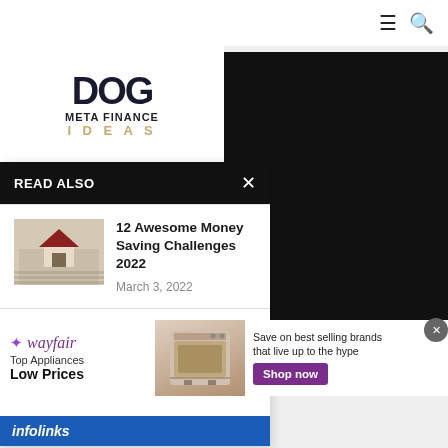☰ 🔍
[Figure (logo): Meta Finance Ideas logo with large bold letters and gold IDEAS text]
READ ALSO
[Figure (photo): Thumbnail of house model on financial documents]
12 Awesome Money Saving Challenges 2022
March 3, 2022
[Figure (photo): Thumbnail of stacked coins]
Saving Tips for Professionals Entering the Workplace
infolinks
wer Your Fico Score in
2021
[Figure (screenshot): Wayfair advertisement: Top Appliances Low Prices, Save on best selling brands that live up to the hype, Shop now button]